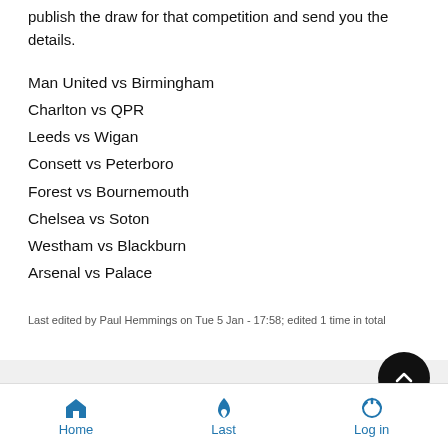...Apologies to the League Cup combatants. I totally forgot to publish the draw for that competition and send you the details.
Man United vs Birmingham
Charlton vs QPR
Leeds vs Wigan
Consett vs Peterboro
Forest vs Bournemouth
Chelsea vs Soton
Westham vs Blackburn
Arsenal vs Palace
Last edited by Paul Hemmings on Tue 5 Jan - 17:58; edited 1 time in total
Tue 5 Jan - 17:49
Home  Last  Log in